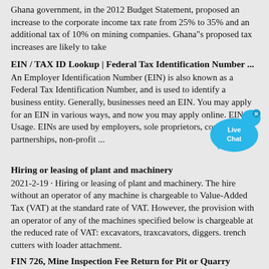Ghana government, in the 2012 Budget Statement, proposed an increase to the corporate income tax rate from 25% to 35% and an additional tax of 10% on mining companies. Ghana"s proposed tax increases are likely to take
EIN / TAX ID Lookup | Federal Tax Identification Number ...
An Employer Identification Number (EIN) is also known as a Federal Tax Identification Number, and is used to identify a business entity. Generally, businesses need an EIN. You may apply for an EIN in various ways, and now you may apply online. EIN Usage. EINs are used by employers, sole proprietors, corporations, partnerships, non-profit ...
[Figure (illustration): Live Chat button icon - blue speech bubble with 'Live Chat' text and an X close button]
Hiring or leasing of plant and machinery
2021-2-19 · Hiring or leasing of plant and machinery. The hire without an operator of any machine is chargeable to Value-Added Tax (VAT) at the standard rate of VAT. However, the provision with an operator of any of the machines specified below is chargeable at the reduced rate of VAT: excavators, traxcavators, diggers. trench cutters with loader attachment.
FIN 726, Mine Inspection Fee Return for Pit or Quarry
2021-8-31 · FIN 726, Mine Inspection Fee Return for Pit or Quarry Author: British Columbia, Ministry of Finance Subject: Mine permit holder must send the completed return and payment to Ministry of Finance for 2016 and subsequent years. Keywords "British Columbia, B.C. taxation, tax forms ...